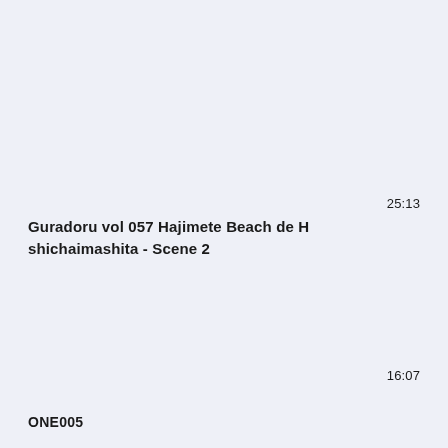25:13
Guradoru vol 057 Hajimete Beach de H shichaimashita - Scene 2
16:07
ONE005